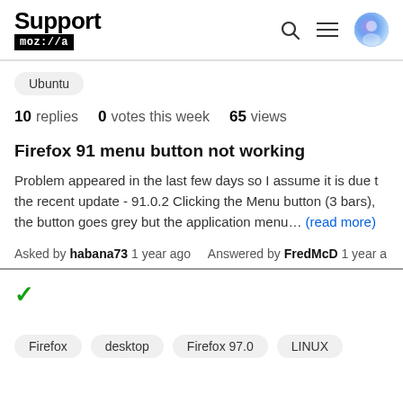Support moz://a
Ubuntu
10 replies  0 votes this week  65 views
Firefox 91 menu button not working
Problem appeared in the last few days so I assume it is due to the recent update - 91.0.2 Clicking the Menu button (3 bars), the button goes grey but the application menu… (read more)
Asked by habana73 1 year ago  Answered by FredMcD 1 year ago
✓
Firefox  desktop  Firefox 97.0  LINUX